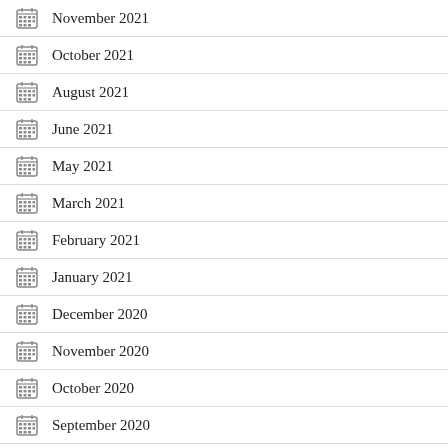November 2021
October 2021
August 2021
June 2021
May 2021
March 2021
February 2021
January 2021
December 2020
November 2020
October 2020
September 2020
August 2020
July 2020
June 2020